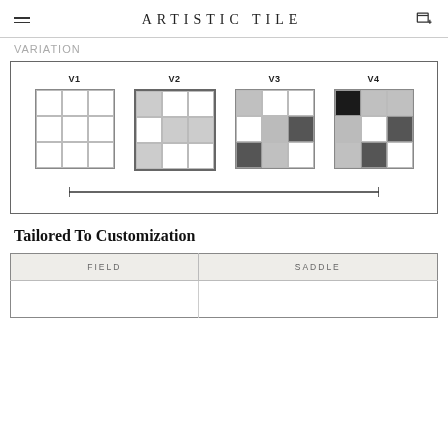ARTISTIC TILE
Variation
[Figure (illustration): Variation diagram showing four tile variation grids labeled V1, V2, V3, V4 with increasing color variation from all white to mixed dark and light gray tiles, with a range bar beneath.]
Tailored To Customization
| FIELD | SADDLE |
| --- | --- |
|  |  |